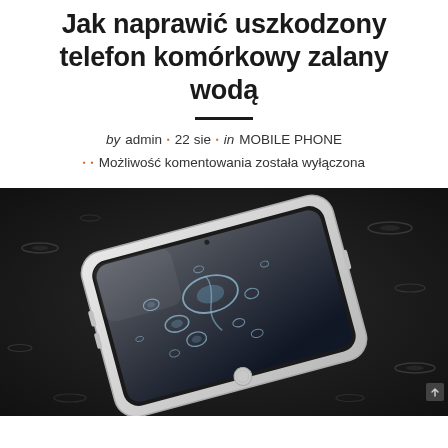Jak naprawić uszkodzony telefon komórkowy zalany wodą
by admin ▪ 22 sie ▪ in MOBILE PHONE ▪ ▪ Możliwość komentowania została wyłączona
[Figure (photo): A white iPhone lying on a dark wet surface with water droplets on the screen, photographed at an angle]